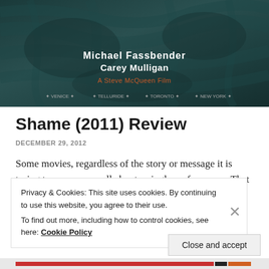[Figure (photo): Movie poster for Shame (2011) showing dark teal/blue crumpled fabric background with text 'Michael Fassbender Carey Mulligan A Steve McQueen Film' and film festival laurel awards at bottom]
Shame (2011) Review
DECEMBER 29, 2012
Some movies, regardless of the story or message it is trying to convey, are all about a single performance. That
Privacy & Cookies: This site uses cookies. By continuing to use this website, you agree to their use. To find out more, including how to control cookies, see here: Cookie Policy
Close and accept